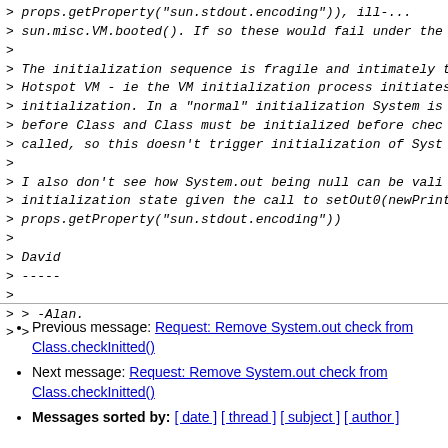> props.getProperty("sun.stdout.encoding")), ill-...
> sun.misc.VM.booted(). If so these would fail under the
>
> The initialization sequence is fragile and intimately t
> Hotspot VM - ie the VM initialization process initiates
> initialization. In a "normal" initialization System is
> before Class and Class must be initialized before check
> called, so this doesn't trigger initialization of Syste
>
> I also don't see how System.out being null can be valid
> initialization state given the call to setOut0(newPrint
> props.getProperty("sun.stdout.encoding"))
>
> David
> -----
>
> > -Alan.
> >
Previous message: Request: Remove System.out check from Class.checkInitted()
Next message: Request: Remove System.out check from Class.checkInitted()
Messages sorted by: [ date ] [ thread ] [ subject ] [ author ]
More information about the core-libs-dev mailing list